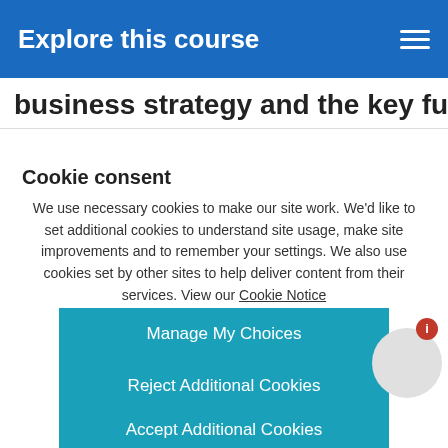Explore this course
business strategy and the key functions of
Cookie consent
We use necessary cookies to make our site work. We'd like to set additional cookies to understand site usage, make site improvements and to remember your settings. We also use cookies set by other sites to help deliver content from their services. View our Cookie Notice
Manage My Choices
Reject Additional Cookies
Accept Additional Cookies